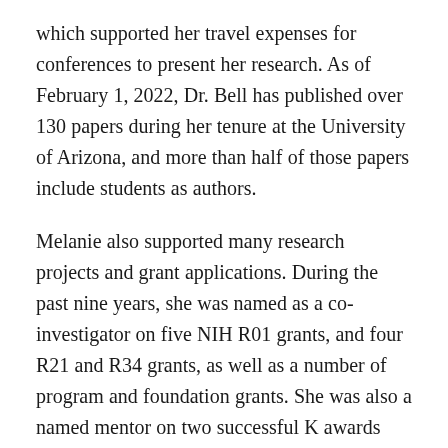which supported her travel expenses for conferences to present her research. As of February 1, 2022, Dr. Bell has published over 130 papers during her tenure at the University of Arizona, and more than half of those papers include students as authors.
Melanie also supported many research projects and grant applications. During the past nine years, she was named as a co-investigator on five NIH R01 grants, and four R21 and R34 grants, as well as a number of program and foundation grants. She was also a named mentor on two successful K awards and the chair for three doctoral committees, including for the college's first ever biostatics PhD graduate. In addition to serving on many graduate committees, Melanie was the research supervisor for eleven MS